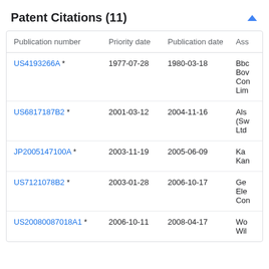Patent Citations (11)
| Publication number | Priority date | Publication date | Ass |
| --- | --- | --- | --- |
| US4193266A * | 1977-07-28 | 1980-03-18 | Bbc
Bov
Con
Lim |
| US6817187B2 * | 2001-03-12 | 2004-11-16 | Als
(Sw
Ltd |
| JP2005147100A * | 2003-11-19 | 2005-06-09 | Ka
Kan |
| US7121078B2 * | 2003-01-28 | 2006-10-17 | Ge
Ele
Con |
| US20080087018A1 * | 2006-10-11 | 2008-04-17 | Wo
Wil |